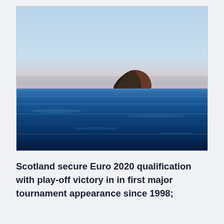[Figure (photo): A landscape photograph of a calm dark blue ocean with a single rocky island or sea stack visible on the horizon, under a pale blue and slightly pinkish sky. The long-exposure style gives the water a smooth, silky appearance.]
Scotland secure Euro 2020 qualification with play-off victory in in first major tournament appearance since 1998;